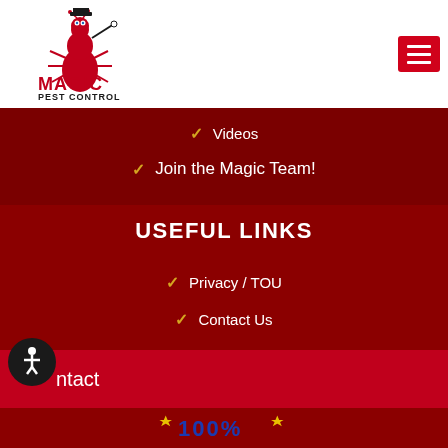[Figure (logo): Magic Pest Control logo — cartoon red ant with top hat and magic wand, with company name 'Magic Pest Control']
[Figure (other): Hamburger menu button (three horizontal lines) in red on white background]
Videos
Join the Magic Team!
USEFUL LINKS
Privacy / TOU
Contact Us
Site Map
ntact
[Figure (other): Accessibility icon — person in wheelchair symbol in white on black circle]
100%